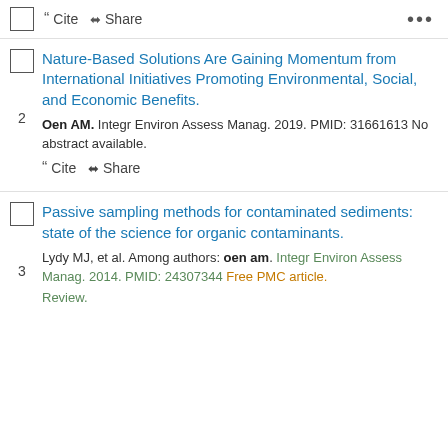Cite   Share
2. Nature-Based Solutions Are Gaining Momentum from International Initiatives Promoting Environmental, Social, and Economic Benefits.
Oen AM. Integr Environ Assess Manag. 2019. PMID: 31661613 No abstract available.
Cite   Share
3. Passive sampling methods for contaminated sediments: state of the science for organic contaminants.
Lydy MJ, et al. Among authors: oen am. Integr Environ Assess Manag. 2014. PMID: 24307344 Free PMC article. Review.